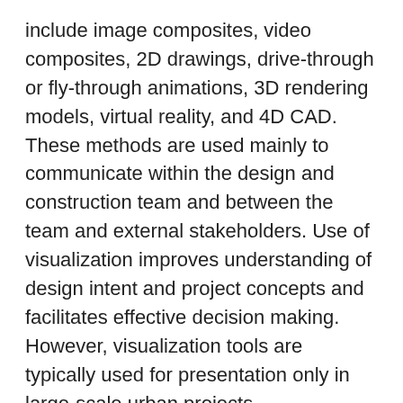include image composites, video composites, 2D drawings, drive-through or fly-through animations, 3D rendering models, virtual reality, and 4D CAD. These methods are used mainly to communicate within the design and construction team and between the team and external stakeholders. Use of visualization improves understanding of design intent and project concepts and facilitates effective decision making. However, visualization tools are typically used for presentation only in large-scale urban projects.
Visualization is not widely accepted due to a lack of demonstrated engineering benefits for typical agency projects, such as small- and medium-sized projects, rural projects, and projects where external stakeholder communication is not a major issue. Furthermore, there is a perceived high cost of investment of both financial and human capital in adopting visualization tools. The most advanced visualization technique of virtual reality has only